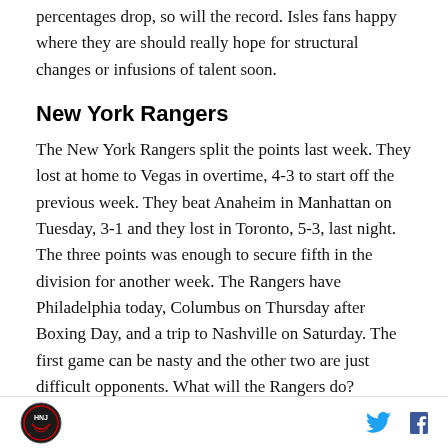percentages drop, so will the record. Isles fans happy where they are should really hope for structural changes or infusions of talent soon.
New York Rangers
The New York Rangers split the points last week. They lost at home to Vegas in overtime, 4-3 to start off the previous week. They beat Anaheim in Manhattan on Tuesday, 3-1 and they lost in Toronto, 5-3, last night. The three points was enough to secure fifth in the division for another week. The Rangers have Philadelphia today, Columbus on Thursday after Boxing Day, and a trip to Nashville on Saturday. The first game can be nasty and the other two are just difficult opponents. What will the Rangers do?